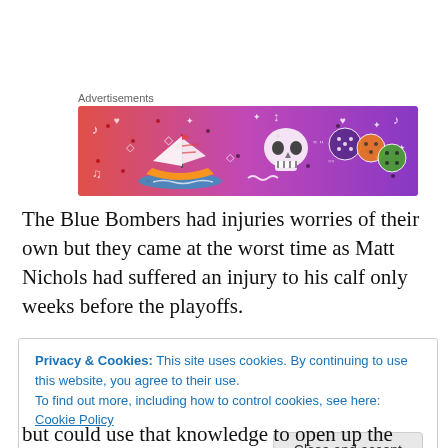[Figure (illustration): Colorful advertisement banner with gradient background (pink to purple) featuring cartoon illustrations of a sailboat, skull, dice/balls with dots, and decorative doodles like music notes, hearts, stars, and sparkles. Labeled 'Advertisements' above.]
The Blue Bombers had injuries worries of their own but they came at the worst time as Matt Nichols had suffered an injury to his calf only weeks before the playoffs.
Privacy & Cookies: This site uses cookies. By continuing to use this website, you agree to their use.
To find out more, including how to control cookies, see here: Cookie Policy

[Close and accept]
but could use that knowledge to open up the passing